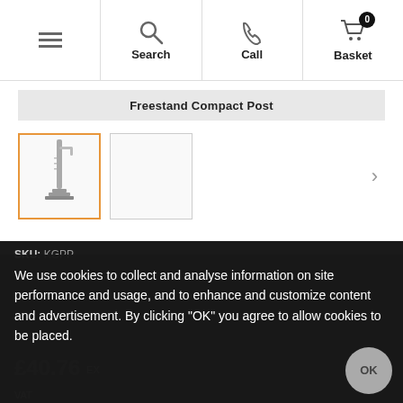Search | Call | Basket 0
Freestand Compact Post
[Figure (photo): Thumbnail of Freestand Compact Post product (selected, orange border) and a second empty thumbnail, with right arrow navigation]
SKU: KGPP
We use cookies to collect and analyse information on site performance and usage, and to enhance and customize content and advertisement. By clicking "OK" you agree to allow cookies to be placed.
£40.76 EX VAT